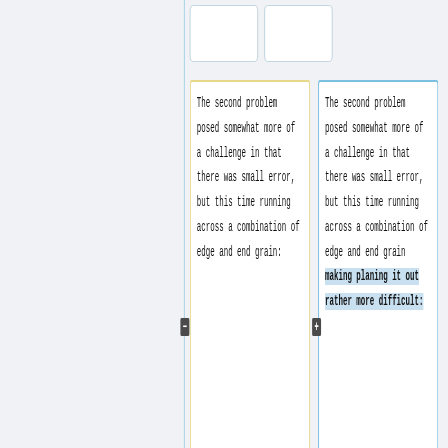The second problem posed somewhat more of a challenge in that there was small error, but this time running across a combination of edge and end grain:
The second problem posed somewhat more of a challenge in that there was small error, but this time running across a combination of edge and end grain making planing it out rather more difficult: